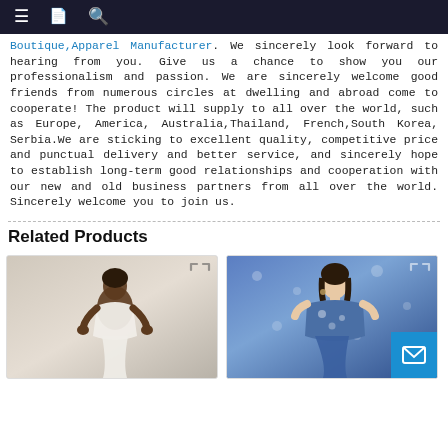Navigation bar with menu, document, and search icons
Boutique,Apparel Manufacturer. We sincerely look forward to hearing from you. Give us a chance to show you our professionalism and passion. We are sincerely welcome good friends from numerous circles at dwelling and abroad come to cooperate! The product will supply to all over the world, such as Europe, America, Australia,Thailand, French,South Korea, Serbia.We are sticking to excellent quality, competitive price and punctual delivery and better service, and sincerely hope to establish long-term good relationships and cooperation with our new and old business partners from all over the world. Sincerely welcome you to join us.
Related Products
[Figure (photo): Product photo: female model wearing a white dress/romper with spaghetti straps, hands on hips]
[Figure (photo): Product photo: female model wearing a blue and white floral off-shoulder top/dress]